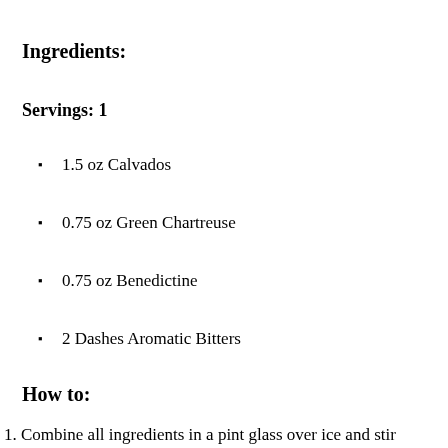Ingredients:
Servings: 1
1.5 oz Calvados
0.75 oz Green Chartreuse
0.75 oz Benedictine
2 Dashes Aromatic Bitters
How to:
1. Combine all ingredients in a pint glass over ice and stir